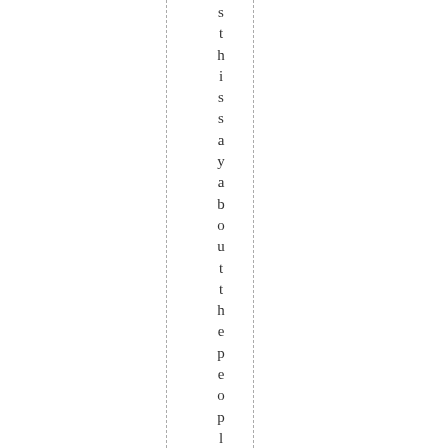s t h i s s a y a b o u t t h e p e o p l e i n c